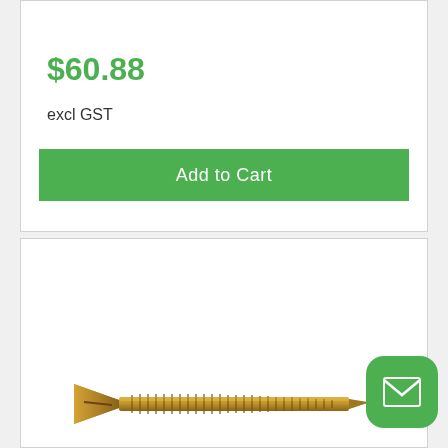$60.88
excl GST
Add to Cart
[Figure (photo): A gold/bronze colored wood screw shown horizontally against a white background, with a flat countersunk head and spiral threading along the shaft]
[Figure (other): Green rounded square email/envelope icon button in the bottom right corner]